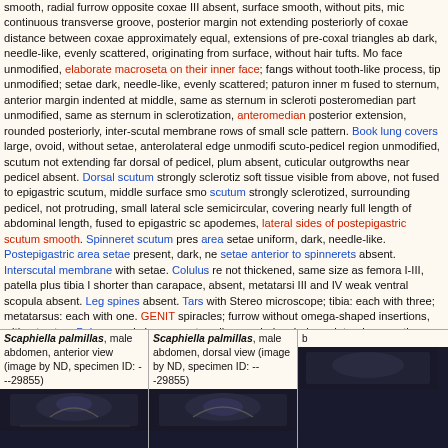smooth, radial furrow opposite coxae III absent, surface smooth, without pits, mic continuous transverse groove, posterior margin not extending posteriorly of coxae distance between coxae approximately equal, extensions of pre-coxal triangles ab dark, needle-like, evenly scattered, originating from surface, without hair tufts. Mo face unmodified, elaborate macroseta on their inner face; fangs without tooth-like process, tip unmodified; setae dark, needle-like, evenly scattered; paturon inner m fused to sternum, anterior margin indented at middle, same as sternum in scleroti posteromedian part unmodified, same as sternum in sclerotization, anteromedian posterior extension, rounded posteriorly, inter-scutal membrane rows of small scle pattern. Book lung covers large, ovoid, without setae, anterolateral edge unmodifi scuto-pedicel region unmodified, scutum not extending far dorsal of pedicel, plum absent, cuticular outgrowths near pedicel absent. Dorsal scutum strongly sclerotiz soft tissue visible from above, not fused to epigastric scutum, middle surface smo scutum strongly sclerotized, surrounding pedicel, not protruding, small lateral scle semicircular, covering nearly full length of abdominal length, fused to epigastric sc apodemes, lateral sides of postepigastric scutum smooth. Spinneret scutum pres area setae uniform, dark, needle-like. Postepigastric area setae present, dark, ne setae anterior to spinnerets absent. Interscutal membrane with setae. Colulus re not thickened, same size as femora I-III, patella plus tibia I shorter than carapace absent, metatarsi III and IV weak ventral scopula absent. Leg spines absent. Tars with Stereo microscope; tibia: each with three; metatarsus: each with one. GENIT spiracles; furrow without omega-shaped insertions, without setae. Palp normal siz segments yellow; embolus dark, prolateral excavation absent, long and narrow em times as long as trochanter, without posteriorly rounded lateral dilation, attaching without prolateral row of ridges, setae unmodified; tibia trichobothria with 3 trichob seam visible, extending beyond distal tip of bulb, plumose setae absent, without s base of palpal cymbium; bulb yellow, 1 to 1.5 times as long as cymbium, stout, ta
[Figure (photo): Scaphiella palmillas male abdomen anterior view, specimen ID ---29855]
Scaphiella palmillas, male abdomen, anterior view (image by ND, specimen ID: ---29855)
[Figure (photo): Scaphiella palmillas male abdomen dorsal view, specimen ID ---29855]
Scaphiella palmillas, male abdomen, dorsal view (image by ND, specimen ID: ---29855)